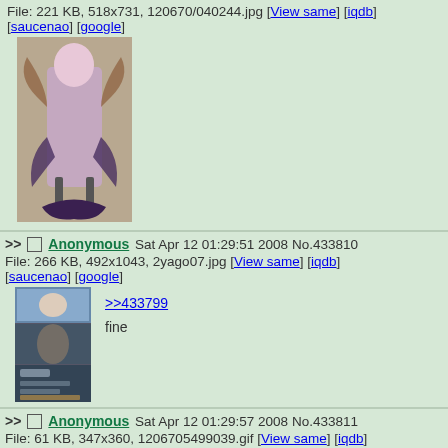File: 221 KB, 518x731, 120670/040244.jpg [View same] [iqdb] [saucenao] [google]
[Figure (photo): Anime character illustration - a girl with wings in purple/dark outfit]
>> Anonymous Sat Apr 12 01:29:51 2008 No.433810
File: 266 KB, 492x1043, 2yago07.jpg [View same] [iqdb] [saucenao] [google]
[Figure (photo): Composite image of multiple anime screenshots]
>>433799
fine
>> Anonymous Sat Apr 12 01:29:57 2008 No.433811
File: 61 KB, 347x360, 1206705499039.gif [View same] [iqdb] [saucenao] [google]
[Figure (photo): Dark image with white/yellow flame-like shapes on black background]